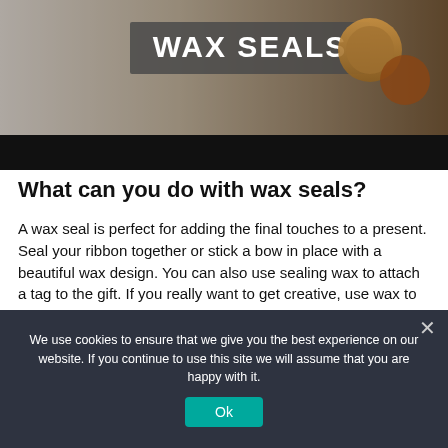[Figure (photo): Top banner image showing 'WAX SEALS' text overlay on a dark background with wax seal materials (gold/brown wax, stamps) visible. A black bar runs beneath the image area.]
What can you do with wax seals?
A wax seal is perfect for adding the final touches to a present. Seal your ribbon together or stick a bow in place with a beautiful wax design. You can also use sealing wax to attach a tag to the gift. If you really want to get creative, use wax to add a dried flower or other decorative touch.
[Figure (other): Light yellow advertisement banner area]
We use cookies to ensure that we give you the best experience on our website. If you continue to use this site we will assume that you are happy with it.